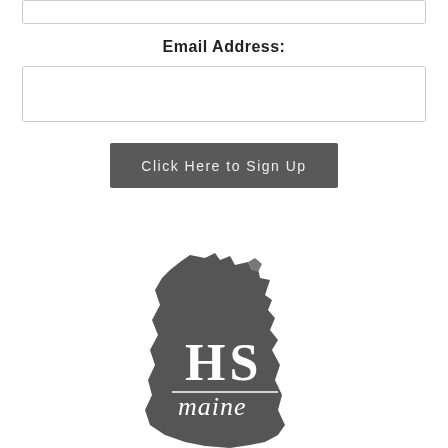[Figure (other): Top partial input box, cut off at the top of the page]
Email Address:
[Figure (other): Empty email address input text box]
Click Here to Sign Up
[Figure (logo): HS Maine logo — silhouette of the state of Maine in dark grey with letters 'HS' and the word 'maine' in script overlaid on the shape]